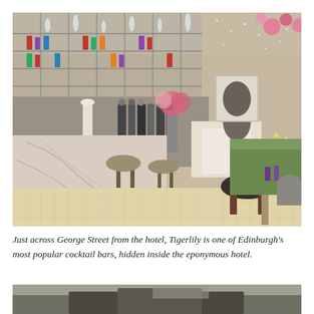[Figure (photo): Interior of Tigerlily cocktail bar in Edinburgh: a stylish bar with marble countertop, bar stools in olive green/taupe, chrome shelving with bottles and glassware, pink floral arrangements, candlelit lanterns, a bust sculpture on a white fireplace mantel, mirrored walls, and green upholstered seating in the background.]
Just across George Street from the hotel, Tigerlily is one of Edinburgh's most popular cocktail bars, hidden inside the eponymous hotel.
[Figure (photo): Partial view of a second photo at the bottom of the page, showing what appears to be an outdoor or architectural scene, partially cropped.]